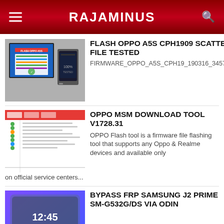RAJAMINUS
FLASH OPPO A5S CPH1909 SCATTER FILE TESTED
FIRMWARE_OPPO_A5S_CPH19_190316_34570289
OPPO MSM DOWNLOAD TOOL V1728.31
OPPO Flash tool is a firmware file flashing tool that supports any Oppo & Realme devices and available only on official service centers...
BYPASS FRP SAMSUNG J2 PRIME SM-G532G/DS VIA ODIN
BYPASS FRP SAMSUNG J2 PRIME SM-G532G/DS VIA ODIN Cara mengatasi samsung J2 prime lupa account google ,lupa pola ,pin password dan tidak bi...
ADB APP CONTROL V1.6.1
A handy and free PC program that will allow you to manage applications on your android device using PC and ADB. You can disabl...